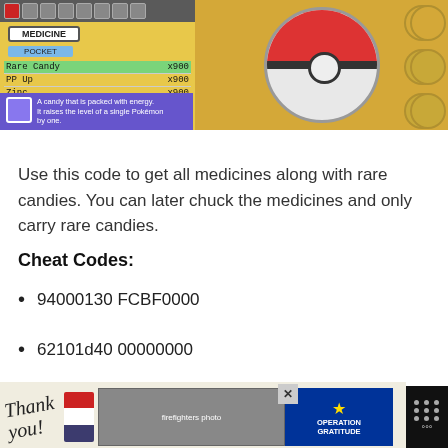[Figure (screenshot): Pokemon game screenshot showing a bag/medicine menu with items Rare Candy x900, PP Up x900, Zinc x900, with MEDICINE label and POCKET tab on the left, and a large Pokeball on the right with circular menu icons on yellow background]
Use this code to get all medicines along with rare candies. You can later chuck the medicines and only carry rare candies.
Cheat Codes:
94000130 FCBF0000
62101d40 00000000
[Figure (photo): Advertisement banner: Operation Gratitude thank you ad with firefighters photo and logo]